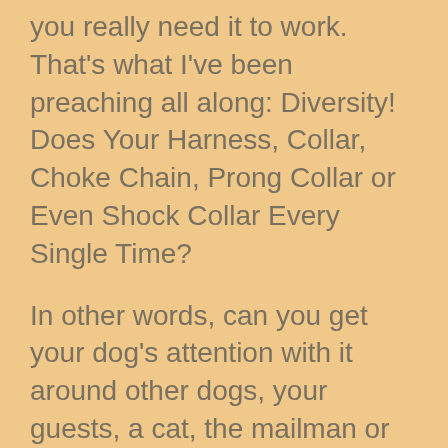you really need it to work. That's what I've been preaching all along: Diversity! Does Your Harness, Collar, Choke Chain, Prong Collar or Even Shock Collar Every Single Time?
In other words, can you get your dog's attention with it around other dogs, your guests, a cat, the mailman or kids playing? How about from a distance and off-leash? If not, size resize your tool, try a different brand so you don't embarrass yourself and find what truly WORKS!